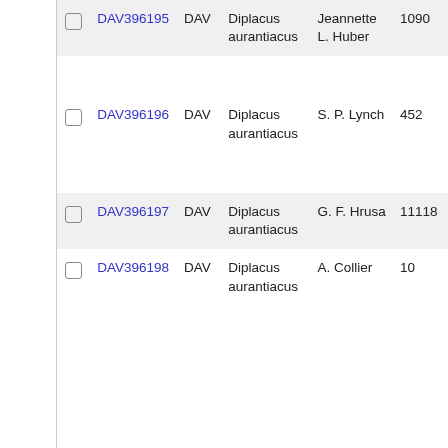| ☐ | DAV396195 | DAV | Diplacus aurantiacus | Jeannette L. Huber | 1090 |
| ☐ | DAV396196 | DAV | Diplacus aurantiacus | S. P. Lynch | 452 |
| ☐ | DAV396197 | DAV | Diplacus aurantiacus | G. F. Hrusa | 11118 |
| ☐ | DAV396198 | DAV | Diplacus aurantiacus | A. Collier | 10 |